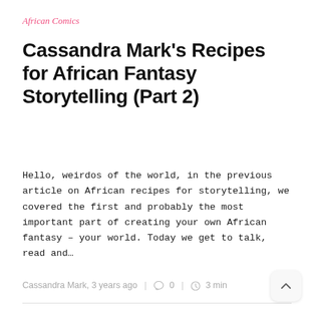African Comics
Cassandra Mark’s Recipes for African Fantasy Storytelling (Part 2)
Hello, weirdos of the world, in the previous article on African recipes for storytelling, we covered the first and probably the most important part of creating your own African fantasy – your world. Today we get to talk, read and…
Cassandra Mark, 3 years ago  |  💬 0  |  ⏰ 3 min